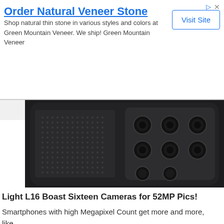Order Natural Veneer Stone
Shop natural thin stone in various styles and colors at Green Mountain Veneer. We ship! Green Mountain Veneer
Visit Site
[Figure (photo): Back of a dark-colored smartphone with multiple camera lenses arranged in a grid pattern]
Light L16 Boast Sixteen Cameras for 52MP Pics!
Smartphones with high Megapixel Count get more and more, like...
[Figure (photo): Gold-colored smartphone showing the back side with dual camera setup]